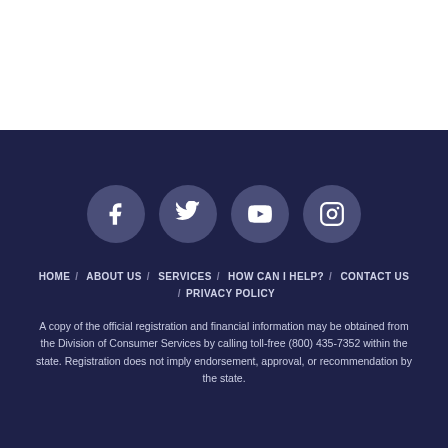[Figure (infographic): Four social media icon circles (Facebook, Twitter, YouTube, Instagram) on a dark navy background]
HOME / ABOUT US / SERVICES / HOW CAN I HELP? / CONTACT US / PRIVACY POLICY
A copy of the official registration and financial information may be obtained from the Division of Consumer Services by calling toll-free (800) 435-7352 within the state. Registration does not imply endorsement, approval, or recommendation by the state.